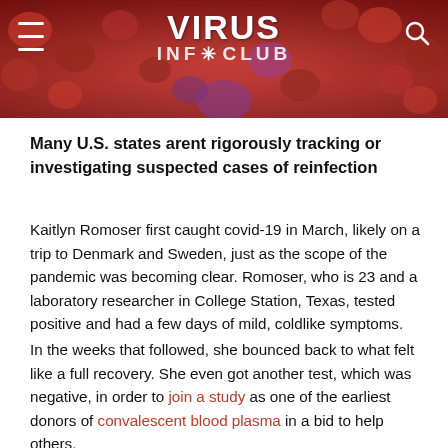[Figure (photo): Website header with red/dark background showing blood cells microscopy image. Logo reads VIRUS INFECTCLUB with hamburger menu on left and search icon on right.]
Many U.S. states arent rigorously tracking or investigating suspected cases of reinfection
Kaitlyn Romoser first caught covid-19 in March, likely on a trip to Denmark and Sweden, just as the scope of the pandemic was becoming clear. Romoser, who is 23 and a laboratory researcher in College Station, Texas, tested positive and had a few days of mild, coldlike symptoms.
In the weeks that followed, she bounced back to what felt like a full recovery. She even got another test, which was negative, in order to join a study as one of the earliest donors of convalescent blood plasma in a bid to help others.